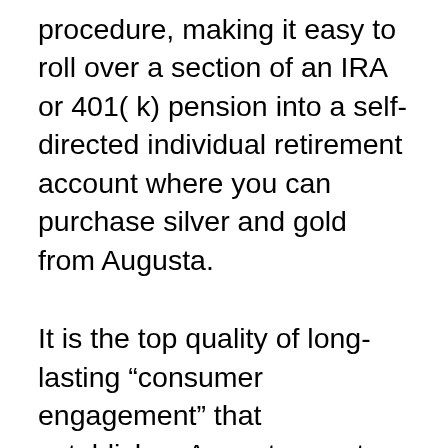procedure, making it easy to roll over a section of an IRA or 401( k) pension into a self-directed individual retirement account where you can purchase silver and gold from Augusta.
It is the top quality of long-lasting “consumer engagement” that establishes Augusta apart. Customers are not left by themselves to take care of every little thing with a custodian after a deal is full. Augusta takes disappointment out of the procedure by functioning as a partner from the start and also through the life of the account– really different from numerous silver and gold service providers that act only as sellers of the metals. Augusta looks after a lot of the